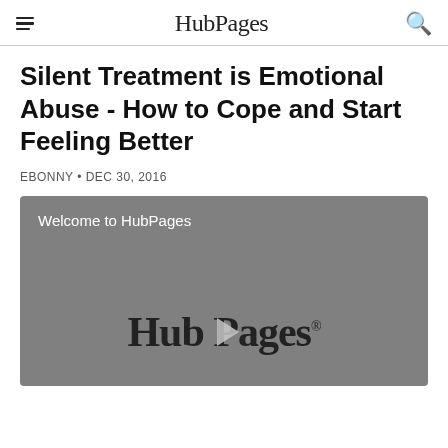HubPages
Silent Treatment is Emotional Abuse - How to Cope and Start Feeling Better
EBONNY • DEC 30, 2016
[Figure (screenshot): Video player showing HubPages logo with play button and label 'Welcome to HubPages']